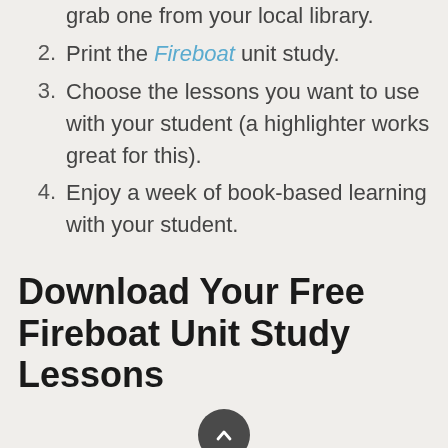grab one from your local library.
Print the Fireboat unit study.
Choose the lessons you want to use with your student (a highlighter works great for this).
Enjoy a week of book-based learning with your student.
Download Your Free Fireboat Unit Study Lessons
Simply click on the image below to grab